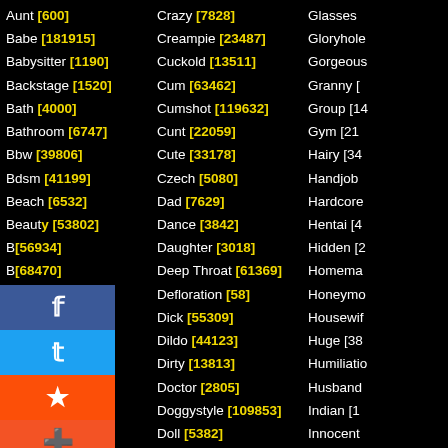Aunt [600]
Babe [181915]
Babysitter [1190]
Backstage [1520]
Bath [4000]
Bathroom [6747]
Bbw [39806]
Bdsm [41199]
Beach [6532]
Beauty [53802]
B... [56934]
B... [68470]
B... [249]
B... [60432]
B... [26759]
B... [31238]
B... [011]
B... [8251]
Bizarre [2169]
Black [54605]
Blackmail [203]
Crazy [7828]
Creampie [23487]
Cuckold [13511]
Cum [63462]
Cumshot [119632]
Cunt [22059]
Cute [33178]
Czech [5080]
Dad [7629]
Dance [3842]
Daughter [3018]
Deep Throat [61369]
Defloration [58]
Dick [55309]
Dildo [44123]
Dirty [13813]
Doctor [2805]
Doggystyle [109853]
Doll [5382]
Domination [2650]
Double [8086]
Glasses [...]
Gloryhole [...]
Gorgeous [...]
Granny [...]
Group [14...]
Gym [21...]
Hairy [34...]
Handjob [...]
Hardcore [...]
Hentai [4...]
Hidden [2...]
Homema...
Honeymo...
Housewif...
Huge [38...]
Humiliation...
Husband [...]
Indian [10...]
Innocent [...]
Insertion [...]
Interracia...